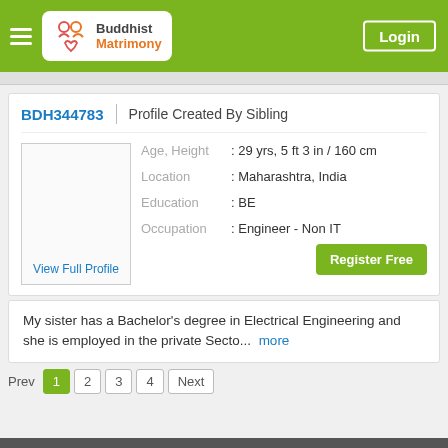Buddhist Matrimony | Login
BDH344783 | Profile Created By Sibling
Age, Height : 29 yrs, 5 ft 3 in / 160 cm
Location : Maharashtra, India
Education : BE
Occupation : Engineer - Non IT
View Full Profile
Register Free
My sister has a Bachelor's degree in Electrical Engineering and she is employed in the private Secto...  more
Prev 1 2 3 4 Next